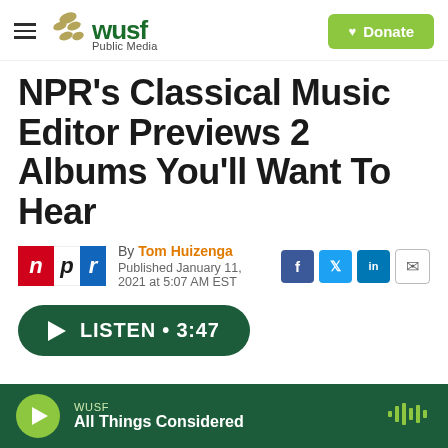WUSF Public Media | Donate
NPR's Classical Music Editor Previews 2 Albums You'll Want To Hear
By Tom Huizenga
Published January 11, 2021 at 5:07 AM EST
[Figure (other): LISTEN • 3:47 audio player button]
WUSF All Things Considered